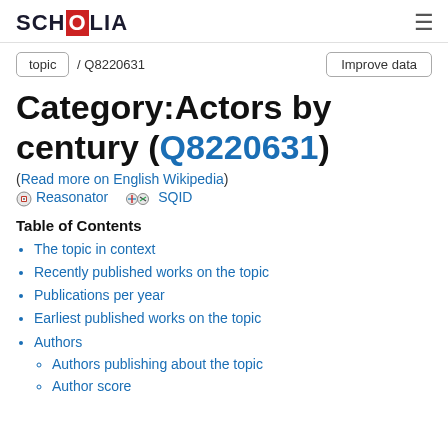SCHOLIA
topic / Q8220631   Improve data
Category:Actors by century (Q8220631)
(Read more on English Wikipedia)
⚙ Reasonator  🔗 SQID
Table of Contents
The topic in context
Recently published works on the topic
Publications per year
Earliest published works on the topic
Authors
Authors publishing about the topic
Author score